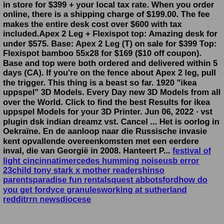in store for $399 + your local tax rate. When you order online, there is a shipping charge of $199.00. The fee makes the entire desk cost over $600 with tax included.Apex 2 Leg + Flexispot top: Amazing desk for under $575. Base: Apex 2 Leg (T) on sale for $399 Top: Flexispot bamboo 55x28 for $169 ($10 off coupon). Base and top were both ordered and delivered within 5 days (CA). If you're on the fence about Apex 2 leg, pull the trigger. This thing is a beast so far. 1920 "ikea uppspel" 3D Models. Every Day new 3D Models from all over the World. Click to find the best Results for ikea uppspel Models for your 3D Printer. Jun 06, 2022 · vst plugin dsk indian dreamz vst. Cancel ... Het is oorlog in Oekraïne. En de aanloop naar die Russische invasie kent opvallende overeenkomsten met een eerdere inval, die van Georgië in 2008. Hanteert P... festival of light cincinnatimercedes humming noiseusb error 23child tony stark x mother readershinso parentsparadise fun rentalsquest abbotsfordhow do you get fordyce granulesworking at sutherland redditrrn newsdiocese